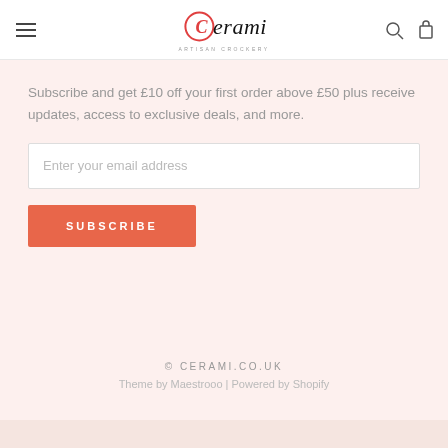[Figure (logo): Cerami Artisan Crockery logo with red circle C and stylized text]
Subscribe and get £10 off your first order above £50 plus receive updates, access to exclusive deals, and more.
Enter your email address
SUBSCRIBE
© CERAMI.CO.UK
Theme by Maestrooo | Powered by Shopify